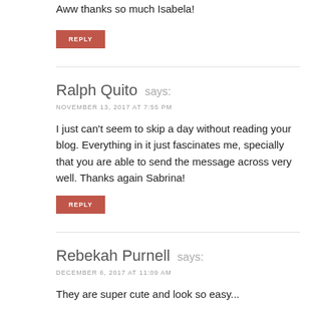Aww thanks so much Isabela!
REPLY
Ralph Quito says:
NOVEMBER 13, 2017 AT 7:55 PM
I just can't seem to skip a day without reading your blog. Everything in it just fascinates me, specially that you are able to send the message across very well. Thanks again Sabrina!
REPLY
Rebekah Purnell says:
DECEMBER 6, 2017 AT 11:09 AM
They are super cute and look so easy...